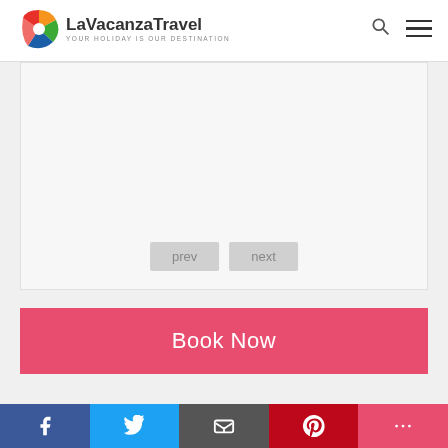[Figure (logo): LaVacanzaTravel logo with colorful pinwheel icon and text 'YOUR HOLIDAY IS OUR DESTINATION']
[Figure (photo): Image slider area - blank/white content area with prev and next navigation buttons]
prev
next
Book Now
Private Sheikh Zayed Mosque Tour from Dubai
From | Per person  ₹  8638